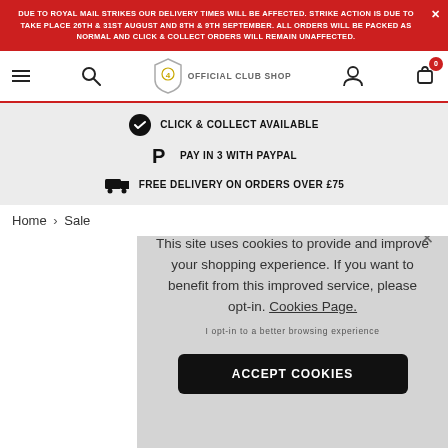DUE TO ROYAL MAIL STRIKES OUR DELIVERY TIMES WILL BE AFFECTED. STRIKE ACTION IS DUE TO TAKE PLACE 26TH & 31ST AUGUST AND 8TH & 9TH SEPTEMBER. ALL ORDERS WILL BE PACKED AS NORMAL AND CLICK & COLLECT ORDERS WILL REMAIN UNAFFECTED.
[Figure (screenshot): Navigation bar with hamburger menu, search icon, Official Club Shop logo with shield badge, user icon, and shopping cart with badge showing 0]
CLICK & COLLECT AVAILABLE
PAY IN 3 WITH PAYPAL
FREE DELIVERY ON ORDERS OVER £75
Home › Sale
This site uses cookies to provide and improve your shopping experience. If you want to benefit from this improved service, please opt-in. Cookies Page.
I opt-in to a better browsing experience
ACCEPT COOKIES